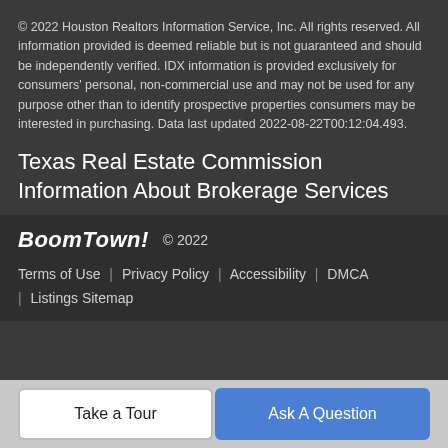© 2022 Houston Realtors Information Service, Inc. All rights reserved. All information provided is deemed reliable but is not guaranteed and should be independently verified. IDX information is provided exclusively for consumers' personal, non-commercial use and may not be used for any purpose other than to identify prospective properties consumers may be interested in purchasing. Data last updated 2022-08-22T00:12:04.493.
Texas Real Estate Commission Information About Brokerage Services
BoomTown! © 2022 | Terms of Use | Privacy Policy | Accessibility | DMCA | Listings Sitemap
Take a Tour
Ask A Question